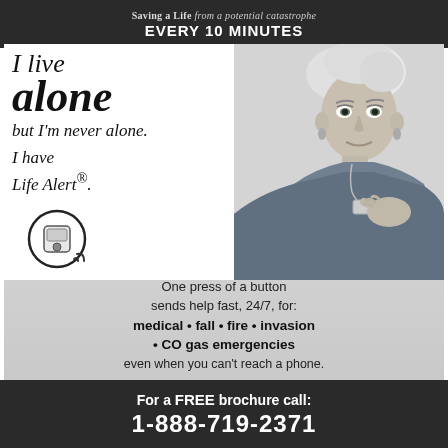Saving a Life from a potential catastrophe EVERY 10 MINUTES
I live alone but I'm never alone. I have Life Alert®.
[Figure (photo): Elderly woman with short white hair and earrings wearing a teal top and Life Alert pendant necklace]
[Figure (illustration): Life Alert device icon in a circle with signal waves]
One press of a button sends help fast, 24/7, for: medical • fall • fire • invasion • CO gas emergencies even when you can't reach a phone.
Life Alert®
No landline? No problem!
For a FREE brochure call: 1-888-719-2371